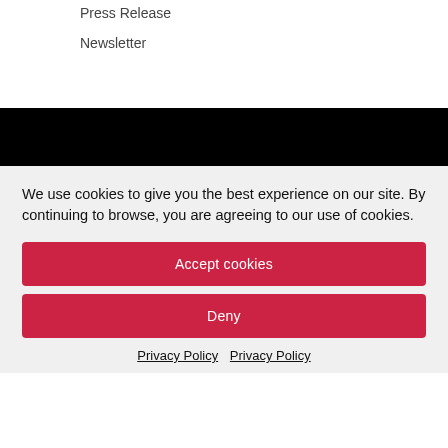Press Release
Newsletter
We use cookies to give you the best experience on our site. By continuing to browse, you are agreeing to our use of cookies.
Accept cookies
Deny
Privacy Policy   Privacy Policy